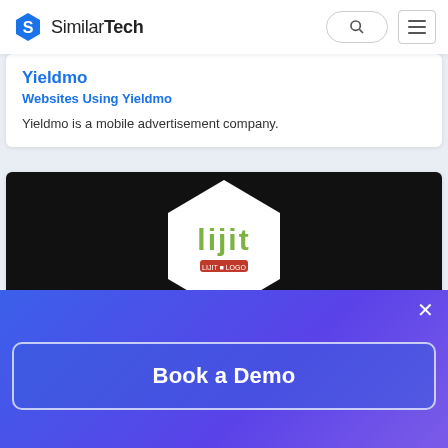SimilarTech
Yieldmo
Websites Using Yieldmo
Yieldmo is a mobile advertisement company.
[Figure (logo): Lijit logo on dark background — white hexagon containing green Lijit wordmark with red sub-logo]
Lijit
Websites Using Lijit
Book a Demo